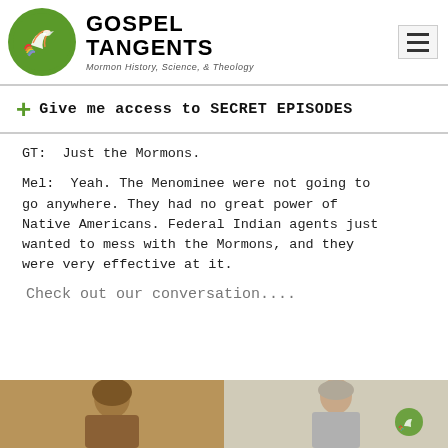[Figure (logo): Gospel Tangents logo with green circle containing a stylized bird/dove shape, bold text 'GOSPEL TANGENTS' and tagline 'Mormon History, Science, & Theology']
+ Give me access to SECRET EPISODES
GT:  Just the Mormons.
Mel:  Yeah. The Menominee were not going to go anywhere. They had no great power of Native Americans. Federal Indian agents just wanted to mess with the Mormons, and they were very effective at it.
Check out our conversation....
[Figure (photo): Two photos side by side: left shows a person with label 'MELVIN C. JOHNSON' on a brown/tan background, right shows a man on a light background with the Gospel Tangents logo watermark]